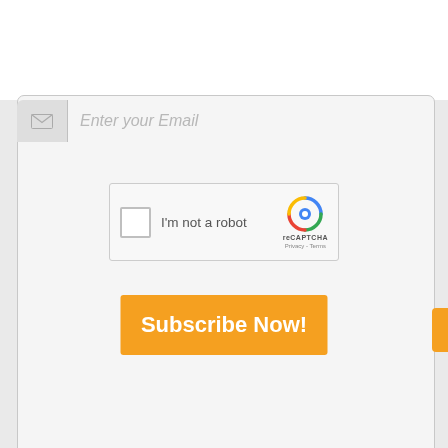[Figure (screenshot): Email subscription form with reCAPTCHA widget and orange Subscribe Now button on a light gray background]
Enter your Email
[Figure (other): reCAPTCHA widget: checkbox, I'm not a robot, reCAPTCHA logo with Privacy - Terms links]
Subscribe Now!
Categories
Aeropspace
Aerospace Fasteners
Aerospace Nev...
We use cookies to ensure that we give you the best experience on our website. If you continue to use this site we will assume that you are happy with it.
Yes, I Accept Cookies.
Send Instant RFQ